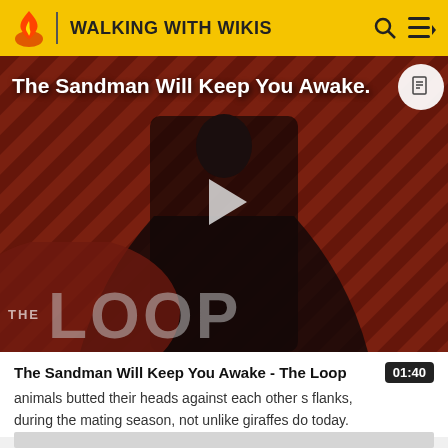WALKING WITH WIKIS
[Figure (screenshot): Video thumbnail showing a figure in black robes against a dark red diagonal striped background with 'THE LOOP' text overlay and a play button in the center. Title overlay reads 'The Sandman Will Keep You Awake.']
The Sandman Will Keep You Awake - The Loop
animals butted their heads against each other s flanks, during the mating season, not unlike giraffes do today.